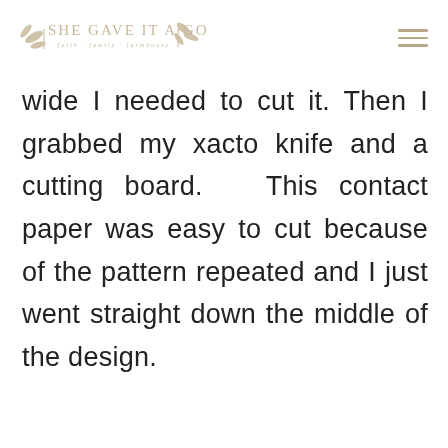SHE GAVE IT A GO – faith · family · farmhouse
wide I needed to cut it. Then I grabbed my xacto knife and a cutting board.  This contact paper was easy to cut because of the pattern repeated and I just went straight down the middle of the design.